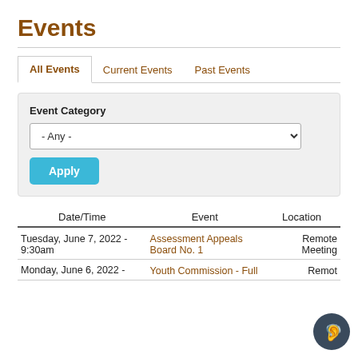Events
All Events | Current Events | Past Events
Event Category: - Any -
| Date/Time | Event | Location |
| --- | --- | --- |
| Tuesday, June 7, 2022 - 9:30am | Assessment Appeals Board No. 1 | Remote Meeting |
| Monday, June 6, 2022 - | Youth Commission - Full | Remot… |